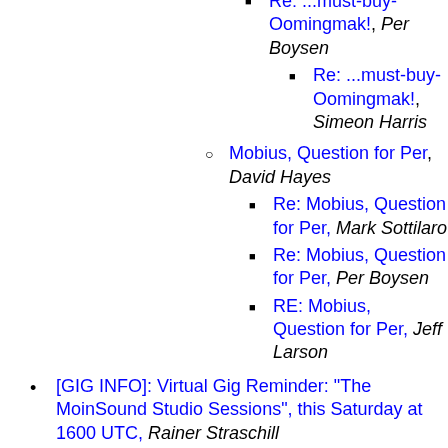Re: ...must-buy-Oomingmak!, Per Boysen
Re: ...must-buy-Oomingmak!, Simeon Harris
Mobius, Question for Per, David Hayes
Re: Mobius, Question for Per, Mark Sottilaro
Re: Mobius, Question for Per, Per Boysen
RE: Mobius, Question for Per, Jeff Larson
[GIG INFO]: Virtual Gig Reminder: "The MoinSound Studio Sessions", this Saturday at 1600 UTC, Rainer Straschill
Slightly OT: new work from...